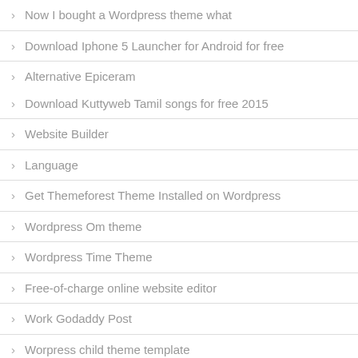Now I bought a Wordpress theme what
Download Iphone 5 Launcher for Android for free
Alternative Epiceram
Download Kuttyweb Tamil songs for free 2015
Website Builder
Language
Get Themeforest Theme Installed on Wordpress
Wordpress Om theme
Wordpress Time Theme
Free-of-charge online website editor
Work Godaddy Post
Worpress child theme template
Get Free Wordpress Landing Page Builder
Stylish Topics Tutorials
The best Stock Photography Sites for sale
The Wordpress Online Shop Plugin for the Online Sh...